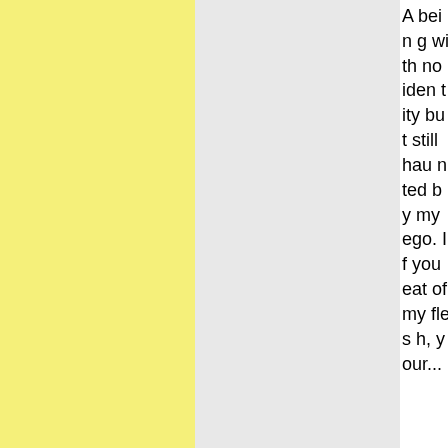A being with no identity but still haunted by my ego. If you eat of my flesh, your...